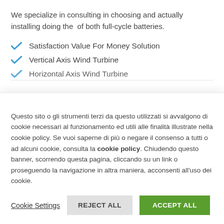We specialize in consulting in choosing and actually installing doing the  of both full-cycle batteries.
Satisfaction Value For Money Solution
Vertical Axis Wind Turbine
Horizontal Axis Wind Turbine
Questo sito o gli strumenti terzi da questo utilizzati si avvalgono di cookie necessari al funzionamento ed utili alle finalità illustrate nella cookie policy. Se vuoi saperne di più o negare il consenso a tutti o ad alcuni cookie, consulta la cookie policy. Chiudendo questo banner, scorrendo questa pagina, cliccando su un link o proseguendo la navigazione in altra maniera, acconsenti all'uso dei cookie.
Cookie Settings | REJECT ALL | ACCEPT ALL